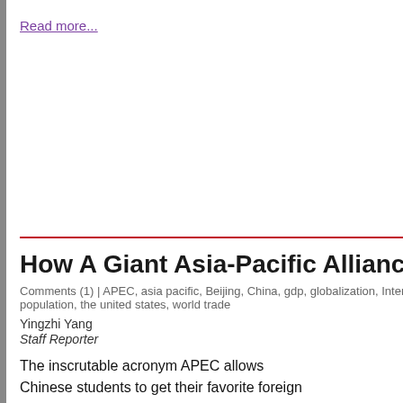Read more...
How A Giant Asia-Pacific Alliance Relates To
Comments (1) | APEC, asia pacific, Beijing, China, gdp, globalization, International, population, the united states, world trade
Yingzhi Yang
Staff Reporter
The inscrutable acronym APEC allows Chinese students to get their favorite foreign foods in the grocery store.